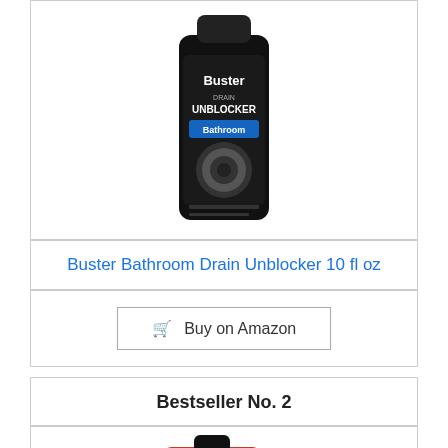[Figure (photo): Buster Bathroom Drain Unblocker product bottle (black bottle)]
Buster Bathroom Drain Unblocker 10 fl oz
Buy on Amazon
Bestseller No. 2
[Figure (photo): Drano Max Gel drain clog remover product bottle (red bottle)]